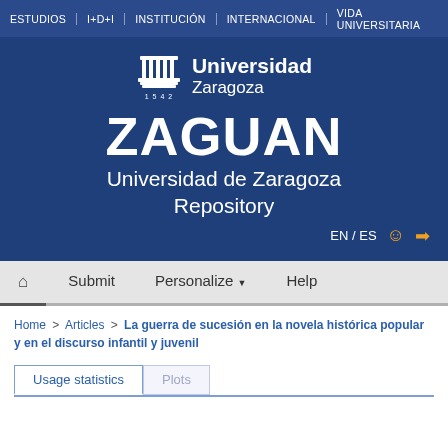ESTUDIOS | I+D+I | INSTITUCIÓN | INTERNACIONAL | VIDA UNIVERSITARIA
[Figure (logo): Universidad de Zaragoza logo with building icon and year 1542, followed by ZAGUAN Universidad de Zaragoza Repository text, EN/ES language selector, user and login icons]
🏠 Submit Personalize ▼ Help
Home > Articles > La guerra de sucesión en la novela histórica popular y en el discurso infantil y juvenil
Usage statistics | Plots